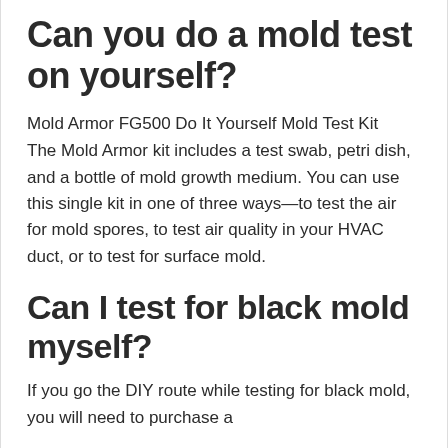Can you do a mold test on yourself?
Mold Armor FG500 Do It Yourself Mold Test Kit
The Mold Armor kit includes a test swab, petri dish, and a bottle of mold growth medium. You can use this single kit in one of three ways—to test the air for mold spores, to test air quality in your HVAC duct, or to test for surface mold.
Can I test for black mold myself?
If you go the DIY route while testing for black mold, you will need to purchase a